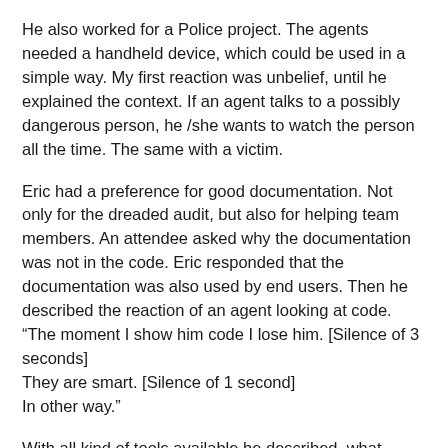He also worked for a Police project. The agents needed a handheld device, which could be used in a simple way. My first reaction was unbelief, until he explained the context. If an agent talks to a possibly dangerous person, he /she wants to watch the person all the time. The same with a victim.
Eric had a preference for good documentation. Not only for the dreaded audit, but also for helping team members. An attendee asked why the documentation was not in the code. Eric responded that the documentation was also used by end users. Then he described the reaction of an agent looking at code.
“The moment I show him code I lose him. [Silence of 3 seconds]
They are smart. [Silence of 1 second]
In other way.”
With all kind of tools available he described, what happened, when test cases are attached to Jira tickets.